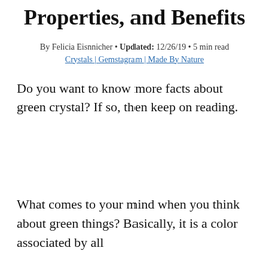Properties, and Benefits
By Felicia Eisnnicher • Updated: 12/26/19 • 5 min read
Crystals | Gemstagram | Made By Nature
Do you want to know more facts about green crystal? If so, then keep on reading.
What comes to your mind when you think about green things? Basically, it is a color associated by all...